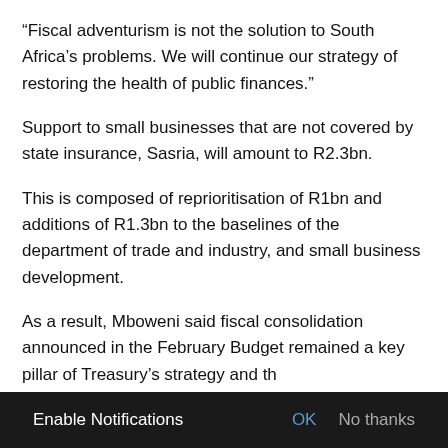“Fiscal adventurism is not the solution to South Africa’s problems. We will continue our strategy of restoring the health of public finances.”
Support to small businesses that are not covered by state insurance, Sasria, will amount to R2.3bn.
This is composed of reprioritisation of R1bn and additions of R1.3bn to the baselines of the department of trade and industry, and small business development.
As a result, Mboweni said fiscal consolidation announced in the February Budget remained a key pillar of Treasury’s strategy and th…
[Figure (screenshot): Browser notification prompt bar at bottom of page reading: Enable Notifications | OK | No thanks]